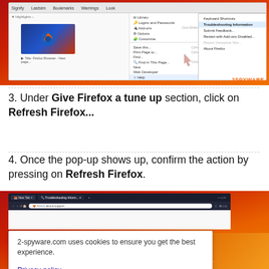[Figure (screenshot): Firefox browser screenshot showing menu open with 'Troubleshooting Information' highlighted and context submenu visible with options including Keyboard Shortcuts, Troubleshooting Information, Submit Feedback, Restart with Add-ons Disabled, Report Deceptive Site, About Firefox. A hand cursor points at the Help menu item. 2SPYWARE branding in bottom right.]
3. Under Give Firefox a tune up section, click on Refresh Firefox...
4. Once the pop-up shows up, confirm the action by pressing on Refresh Firefox.
[Figure (screenshot): Firefox browser showing Troubleshooting Information page (about:support) with a cookie consent banner overlay. Banner reads: '2-spyware.com uses cookies to ensure you get the best experience.' with Privacy policy link and Agree button.]